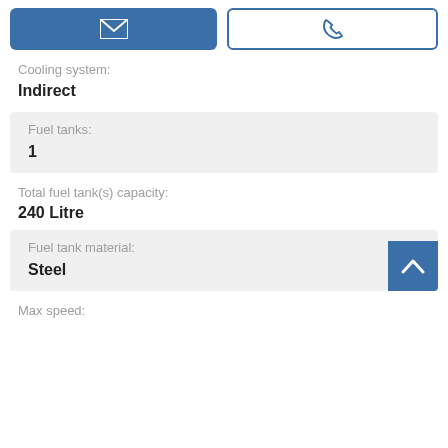[Figure (other): Email button (blue filled) and phone button (white with blue border) at top of page]
Cooling system:
Indirect
Fuel tanks:
1
Total fuel tank(s) capacity:
240 Litre
Fuel tank material:
Steel
Max speed: